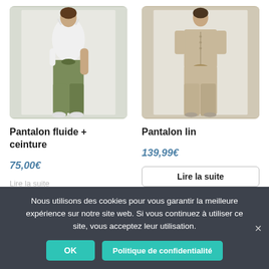[Figure (photo): Woman wearing white top and olive green high-waisted paperbag trousers with white sneakers, standing in front of white background]
Pantalon fluide + ceinture
75,00€
Lire la suite
[Figure (photo): Woman wearing beige linen shirt and matching wide-leg linen trousers with a tie waist, standing in front of white background]
Pantalon lin
139,99€
Lire la suite
Nous utilisons des cookies pour vous garantir la meilleure expérience sur notre site web. Si vous continuez à utiliser ce site, vous acceptez leur utilisation.
OK
Politique de confidentialité